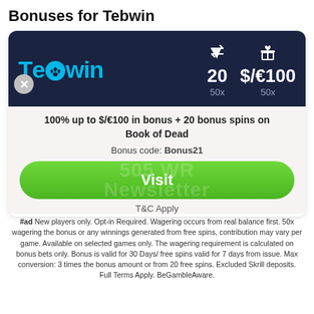Bonuses for Tebwin
[Figure (infographic): Tebwin casino bonus card showing dark navy header with Tebwin logo, 20 free spins (50x wagering) and $/€100 bonus (50x wagering) stats with icons, followed by light section with offer text '100% up to $/€100 in bonus + 20 bonus spins on Book of Dead', bonus code 'Bonus21', and green Visit button, then T&C Apply text.]
#ad New players only. Opt-in Required. Wagering occurs from real balance first. 50x wagering the bonus or any winnings generated from free spins, contribution may vary per game. Available on selected games only. The wagering requirement is calculated on bonus bets only. Bonus is valid for 30 Days/ free spins valid for 7 days from issue. Max conversion: 3 times the bonus amount or from 20 free spins. Excluded Skrill deposits. Full Terms Apply. BeGambleAware.